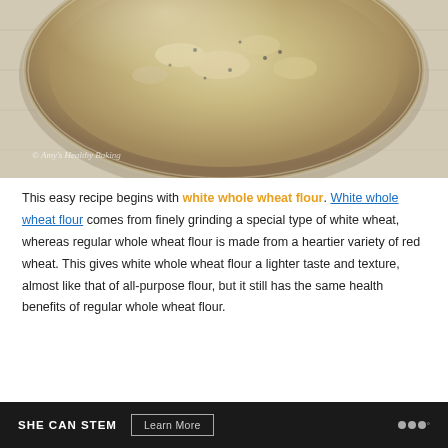[Figure (photo): Overhead close-up view of a mixing bowl with flour/batter mixture from Amy's Healthy Baking, on a light wood background. Watermark reads '© Amy's Healthy Baking'.]
This easy recipe begins with white whole wheat flour. White whole wheat flour comes from finely grinding a special type of white wheat, whereas regular whole wheat flour is made from a heartier variety of red wheat. This gives white whole wheat flour a lighter taste and texture, almost like that of all-purpose flour, but it still has the same health benefits of regular whole wheat flour.
SHE CAN STEM  Learn More